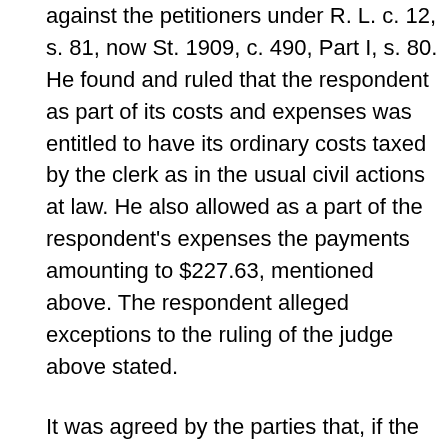against the petitioners under R. L. c. 12, s. 81, now St. 1909, c. 490, Part I, s. 80. He found and ruled that the respondent as part of its costs and expenses was entitled to have its ordinary costs taxed by the clerk as in the usual civil actions at law. He also allowed as a part of the respondent's expenses the payments amounting to $227.63, mentioned above. The respondent alleged exceptions to the ruling of the judge above stated.
It was agreed by the parties that, if the respondent's exceptions were overruled, judgment was to be entered for the respondent in the sum of $227.63 "in addition to ordinary taxable costs in the original case, but not including any further sum for the cost of printing the brief in said case." The other stipulations of the parties have become immaterial.